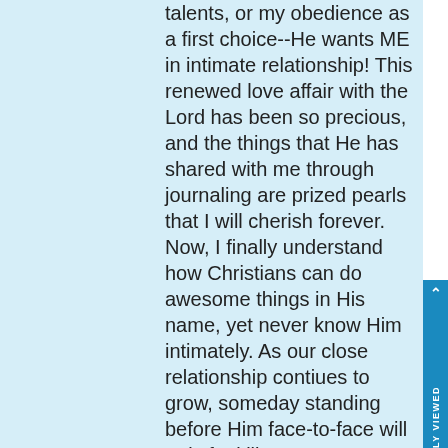talents, or my obedience as a first choice--He wants ME in intimate relationship! This renewed love affair with the Lord has been so precious, and the things that He has shared with me through journaling are prized pearls that I will cherish forever. Now, I finally understand how Christians can do awesome things in His name, yet never know Him intimately. As our close relationship contiues to grow, someday standing before Him face-to-face will truly feel like a